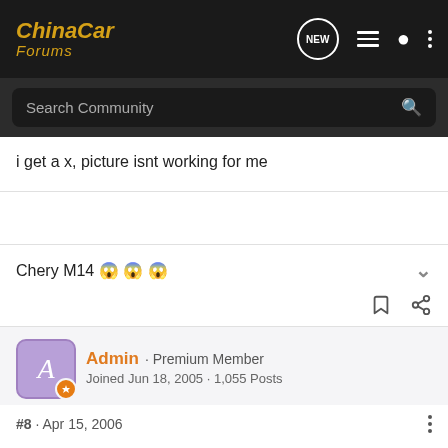ChinaCar Forums
i get a x, picture isnt working for me
Chery M14 😱😱😱
Admin · Premium Member
Joined Jun 18, 2005 · 1,055 Posts
#8 · Apr 15, 2006